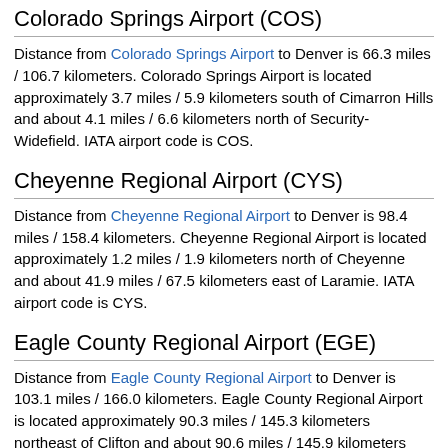Colorado Springs Airport (COS)
Distance from Colorado Springs Airport to Denver is 66.3 miles / 106.7 kilometers. Colorado Springs Airport is located approximately 3.7 miles / 5.9 kilometers south of Cimarron Hills and about 4.1 miles / 6.6 kilometers north of Security-Widefield. IATA airport code is COS.
Cheyenne Regional Airport (CYS)
Distance from Cheyenne Regional Airport to Denver is 98.4 miles / 158.4 kilometers. Cheyenne Regional Airport is located approximately 1.2 miles / 1.9 kilometers north of Cheyenne and about 41.9 miles / 67.5 kilometers east of Laramie. IATA airport code is CYS.
Eagle County Regional Airport (EGE)
Distance from Eagle County Regional Airport to Denver is 103.1 miles / 166.0 kilometers. Eagle County Regional Airport is located approximately 90.3 miles / 145.3 kilometers northeast of Clifton and about 90.6 miles / 145.9 kilometers west of Golden. IATA airport code is EGE.
A dash or dash to with a dash dash is a...